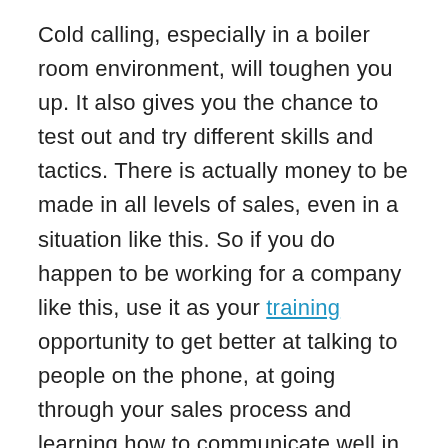Cold calling, especially in a boiler room environment, will toughen you up. It also gives you the chance to test out and try different skills and tactics. There is actually money to be made in all levels of sales, even in a situation like this. So if you do happen to be working for a company like this, use it as your training opportunity to get better at talking to people on the phone, at going through your sales process and learning how to communicate well in this medium.